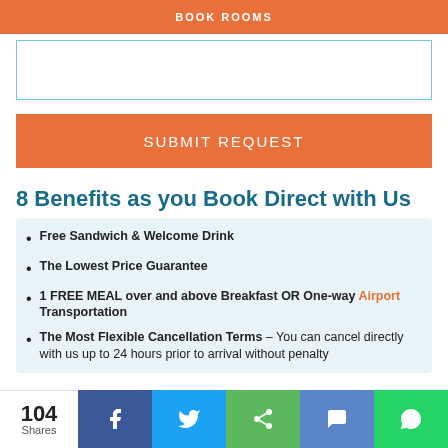BOOK ROOMS
8 Benefits as you Book Direct with Us
Free Sandwich & Welcome Drink
The Lowest Price Guarantee
1 FREE MEAL over and above Breakfast OR One-way Airport Transportation
The Most Flexible Cancellation Terms – You can cancel directly with us up to 24 hours prior to arrival without penalty